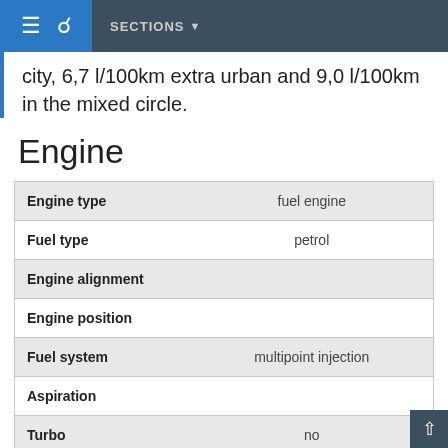SECTIONS
city, 6,7 l/100km extra urban and 9,0 l/100km in the mixed circle.
Engine
|  |  |
| --- | --- |
| Engine type | fuel engine |
| Fuel type | petrol |
| Engine alignment |  |
| Engine position |  |
| Fuel system | multipoint injection |
| Aspiration |  |
| Turbo | no |